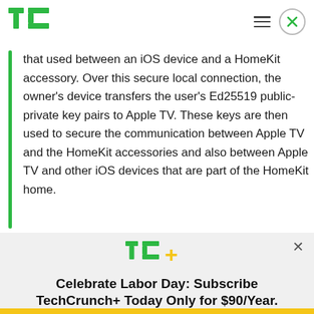TechCrunch logo, hamburger menu, close button
that used between an iOS device and a HomeKit accessory. Over this secure local connection, the owner's device transfers the user's Ed25519 public-private key pairs to Apple TV. These keys are then used to secure the communication between Apple TV and the HomeKit accessories and also between Apple TV and other iOS devices that are part of the HomeKit home.
[Figure (logo): TechCrunch+ logo (TC+ in green and yellow)]
Celebrate Labor Day: Subscribe TechCrunch+ Today Only for $90/Year.
GET OFFER NOW